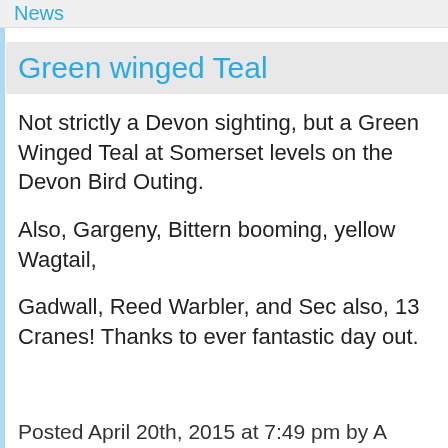News
Green winged Teal
Not strictly a Devon sighting, but a Green Winged Teal at Somerset levels on the Devon Bird Outing.
Also, Gargeny, Bittern booming, yellow Wagtail,
Gadwall, Reed Warbler, and Sedge also, 13 Cranes! Thanks to every fantastic day out.
Posted April 20th, 2015 at 7:49 pm by A